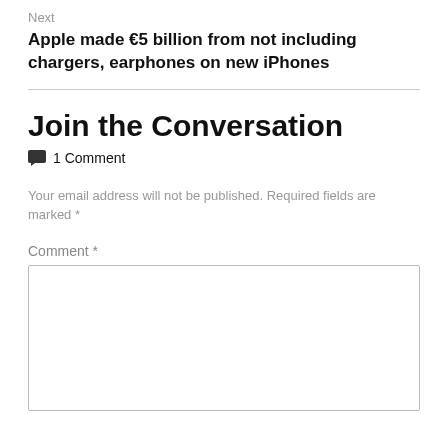Next
Apple made €5 billion from not including chargers, earphones on new iPhones
Join the Conversation
1 Comment
Your email address will not be published. Required fields are marked *
Comment *